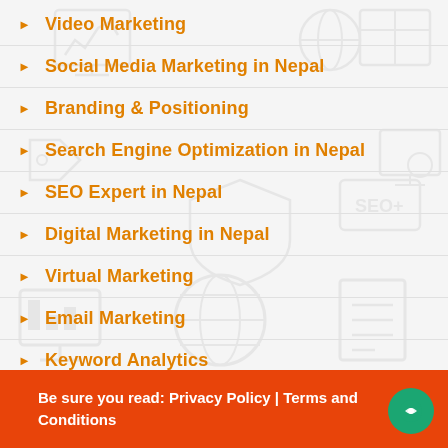Video Marketing
Social Media Marketing in Nepal
Branding & Positioning
Search Engine Optimization in Nepal
SEO Expert in Nepal
Digital Marketing in Nepal
Virtual Marketing
Email Marketing
Keyword Analytics
Be sure you read: Privacy Policy | Terms and Conditions